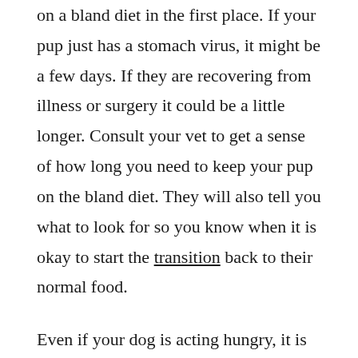on a bland diet in the first place. If your pup just has a stomach virus, it might be a few days. If they are recovering from illness or surgery it could be a little longer. Consult your vet to get a sense of how long you need to keep your pup on the bland diet. They will also tell you what to look for so you know when it is okay to start the transition back to their normal food.
Even if your dog is acting hungry, it is important to feed them slowly and stick to the bland diet as long as your vet recommends. Transitioning away from the bland diet too fast can make your pup sick again.
Immediately after your dog vomits, you don't want to feed them. The best thing you can do is wait and let their